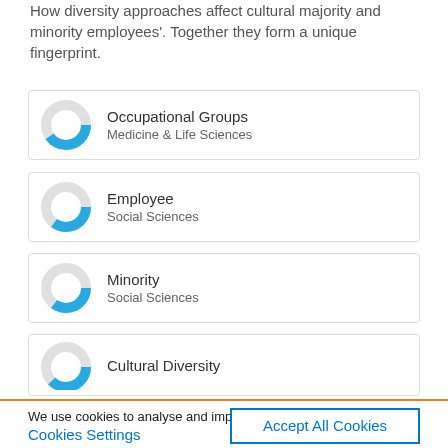How diversity approaches affect cultural majority and minority employees'. Together they form a unique fingerprint.
[Figure (donut-chart): Donut chart showing approximately 65% fill in blue, for Occupational Groups, Medicine & Life Sciences]
Occupational Groups
Medicine & Life Sciences
[Figure (donut-chart): Donut chart showing approximately 60% fill in blue, for Employee, Social Sciences]
Employee
Social Sciences
[Figure (donut-chart): Donut chart showing approximately 60% fill in blue, for Minority, Social Sciences]
Minority
Social Sciences
[Figure (donut-chart): Donut chart showing approximately 62% fill in blue, for Cultural Diversity]
Cultural Diversity
We use cookies to analyse and improve our service. Cookie Policy
Cookies Settings
Accept All Cookies